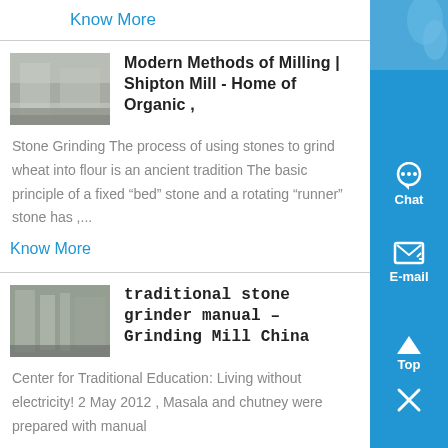Know More
Modern Methods of Milling | Shipton Mill - Home of Organic ,
[Figure (photo): Industrial milling facility interior with metallic surfaces]
Stone Grinding The process of using stones to grind wheat into flour is an ancient tradition The basic principle of a fixed “bed” stone and a rotating “runner” stone has ,...
Know More
traditional stone grinder manual – Grinding Mill China
[Figure (photo): Traditional stone grinding mill interior with machinery]
Center for Traditional Education: Living without electricity! 2 May 2012 , Masala and chutney were prepared with manual